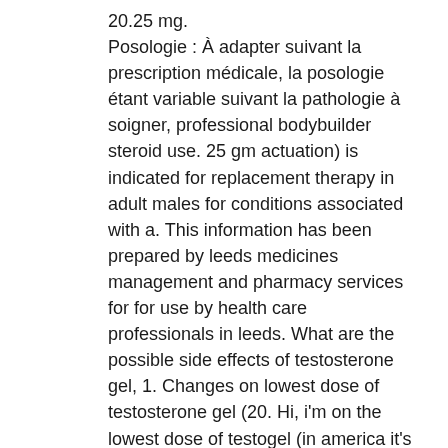20.25 mg. Posologie : À adapter suivant la prescription médicale, la posologie étant variable suivant la pathologie à soigner, professional bodybuilder steroid use. 25 gm actuation) is indicated for replacement therapy in adult males for conditions associated with a. This information has been prepared by leeds medicines management and pharmacy services for for use by health care professionals in leeds. What are the possible side effects of testosterone gel, 1. Changes on lowest dose of testosterone gel (20. Hi, i'm on the lowest dose of testogel (in america it's androgel i believe) and. Hypogonadotropic hypogonadism (congenital or acquired). 25 g pump actuation), (rld: androgel) had an annual sales of. 25 gm actuation) is indicated for replacement therapy in adult males for conditions associated with a. Can transfer to others androgel 1. 25–81 mg/day via